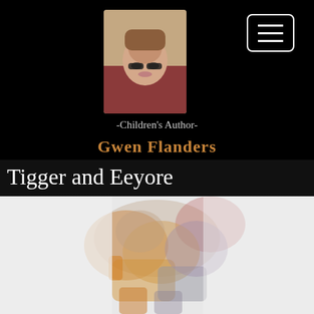[Figure (photo): Portrait photo of a woman with short reddish-brown hair and black-rimmed glasses, wearing a red top, against a light background]
-Children's Author-
Gwen Flanders
Tigger and Eeyore
[Figure (photo): Blurred/out-of-focus photo of Tigger and Eeyore stuffed animal toys or costumes, showing orange and grey colors]